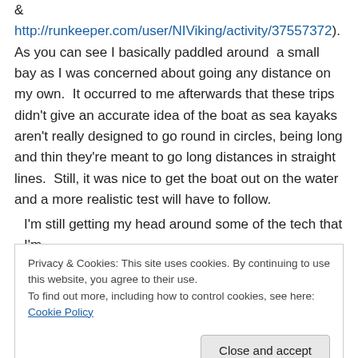& http://runkeeper.com/user/NIViking/activity/37557372). As you can see I basically paddled around a small bay as I was concerned about going any distance on my own. It occurred to me afterwards that these trips didn't give an accurate idea of the boat as sea kayaks aren't really designed to go round in circles, being long and thin they're meant to go long distances in straight lines. Still, it was nice to get the boat out on the water and a more realistic test will have to follow.
I'm still getting my head around some of the tech that I'm
Privacy & Cookies: This site uses cookies. By continuing to use this website, you agree to their use. To find out more, including how to control cookies, see here: Cookie Policy